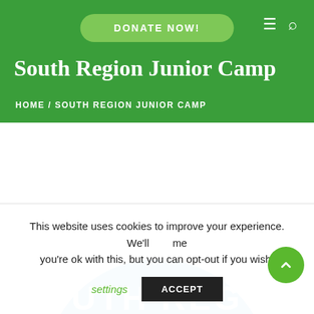DONATE NOW!
South Region Junior Camp
HOME / SOUTH REGION JUNIOR CAMP
[Figure (logo): Blue circular logo with white text reading 'UTH REG' (South Region Junior Camp logo, partially cropped)]
This website uses cookies to improve your experience. We'll assume you're ok with this, but you can opt-out if you wish.
settings   ACCEPT